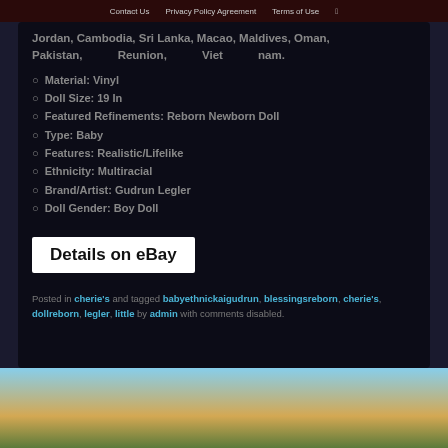Contact Us   Privacy Policy Agreement   Terms of Use
Jordan, Cambodia, Sri Lanka, Macao, Maldives, Oman, Pakistan, Reunion, Viet nam.
Material: Vinyl
Doll Size: 19 In
Featured Refinements: Reborn Newborn Doll
Type: Baby
Features: Realistic/Lifelike
Ethnicity: Multiracial
Brand/Artist: Gudrun Legler
Doll Gender: Boy Doll
Details on eBay
Posted in cherie's and tagged babyethnickaigudrun, blessingsreborn, cherie's, dollreborn, legler, little by admin with comments disabled.